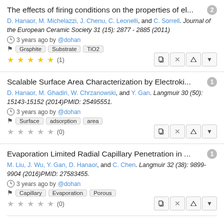The effects of firing conditions on the properties of el...
D. Hanaor, M. Michelazzi, J. Chenu, C. Leonelli, and C. Sorrell. Journal of the European Ceramic Society 31 (15): 2877 - 2885 (2011)
3 years ago by @dohan
Tags: Graphite, Substrate, TiO2
Rating: 5 stars (1)
Scalable Surface Area Characterization by Electroki...
D. Hanaor, M. Ghadiri, W. Chrzanowski, and Y. Gan. Langmuir 30 (50): 15143-15152 (2014)PMID: 25495551.
3 years ago by @dohan
Tags: Surface, adsorption, area
Rating: 0 stars (0)
Evaporation Limited Radial Capillary Penetration in ...
M. Liu, J. Wu, Y. Gan, D. Hanaor, and C. Chen. Langmuir 32 (38): 9899-9904 (2016)PMID: 27583455.
3 years ago by @dohan
Tags: Capillary, Evaporation, Porous
Rating: 0 stars (0)